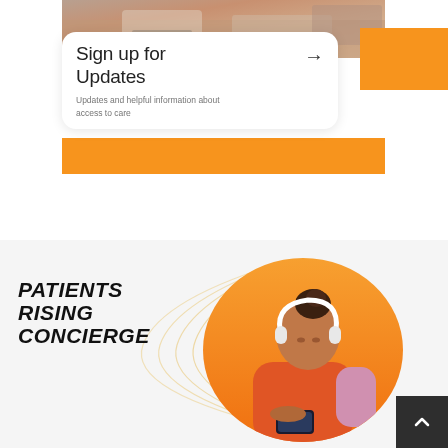[Figure (photo): Photo of people working at laptops, partially visible at top of page]
Sign up for Updates
Updates and helpful information about access to care
[Figure (photo): Woman wearing white headphones and looking at a smartphone, against an orange background, in the Patients Rising Concierge section]
PATIENTS RISING CONCIERGE